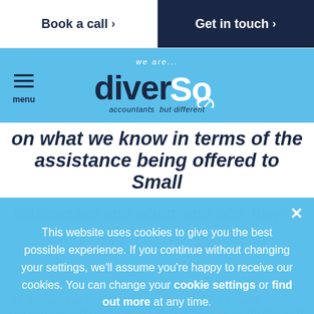Book a call >    Get in touch >
[Figure (logo): Diverso accountants but different logo on blue background with hamburger menu icon]
on what we know in terms of the assistance being offered to Small
Businesses and when, and how they're likely to get it.
This website uses cookies to give you the best possible experience. If you continue without changing your settings, we'll assume you're happy to receive our cookies. You can change your cookie settings or find out more at any time.
All businesses in the retail, hospitality and leisure businesses will not have to pay business rates for the next 12 months. The criteria states you ne...